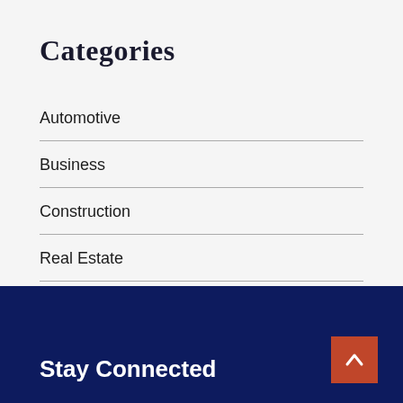Categories
Automotive
Business
Construction
Real Estate
Trade
Stay Connected